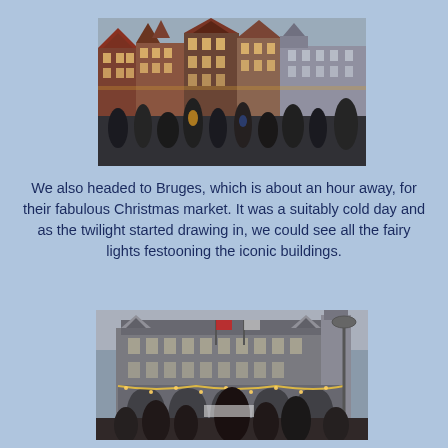[Figure (photo): Photograph of a crowded Christmas market square in Bruges, Belgium. Rows of historic Gothic stepped-gable buildings line the background, illuminated with warm lights. A large crowd of people fills the square in the foreground under an overcast sky.]
We also headed to Bruges, which is about an hour away, for their fabulous Christmas market. It was a suitably cold day and as the twilight started drawing in, we could see all the fairy lights festooning the iconic buildings.
[Figure (photo): Photograph of a grand Gothic civic building in Bruges decorated with Christmas fairy lights along its arched loggia. People stand in the foreground with their backs to the camera. A decorative lamp post and flags are visible.]